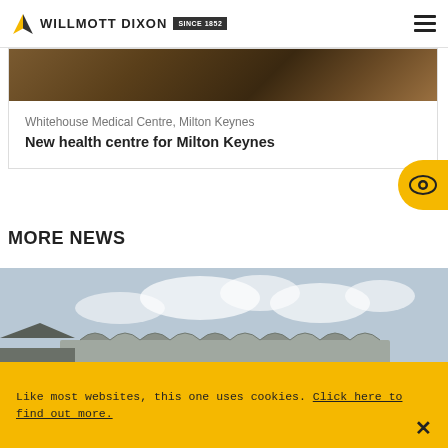WILLMOTT DIXON SINCE 1852
[Figure (photo): Aerial or top-down view of a building roof, earthy brown tones]
Whitehouse Medical Centre, Milton Keynes
New health centre for Milton Keynes
MORE NEWS
[Figure (photo): Exterior view of a modern building with curved metallic roof against a cloudy sky]
Like most websites, this one uses cookies. Click here to find out more.